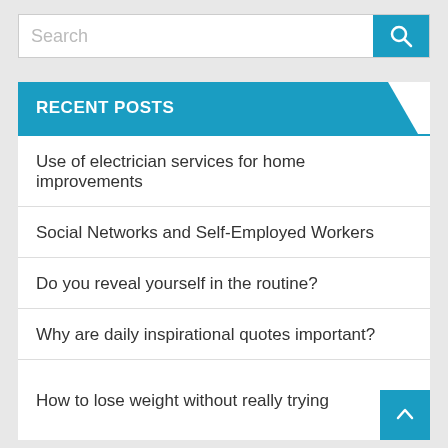[Figure (screenshot): Search bar with text input placeholder 'Search' and a blue search button with magnifying glass icon]
RECENT POSTS
Use of electrician services for home improvements
Social Networks and Self-Employed Workers
Do you reveal yourself in the routine?
Why are daily inspirational quotes important?
How to lose weight without really trying